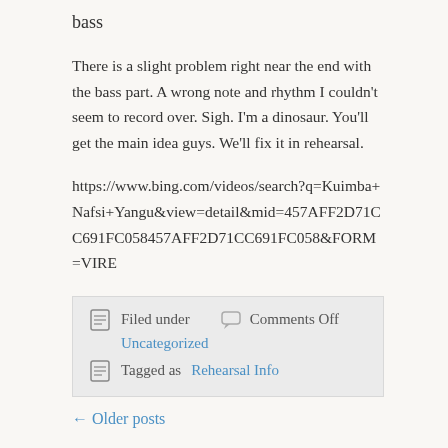bass
There is a slight problem right near the end with the bass part. A wrong note and rhythm I couldn’t seem to record over. Sigh. I’m a dinosaur. You’ll get the main idea guys. We’ll fix it in rehearsal.
https://www.bing.com/videos/search?q=Kuimba+Nafsi+Yangu&view=detail&mid=457AFF2D71CC691FC058457AFF2D71CC691FC058&FORM=VIRE
Filed under  Comments Off  Uncategorized  Tagged as Rehearsal Info
← Older posts